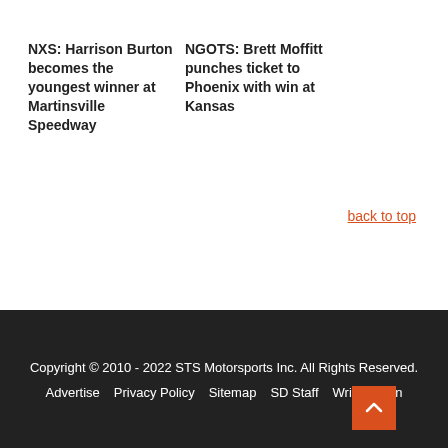NXS: Harrison Burton becomes the youngest winner at Martinsville Speedway
NGOTS: Brett Moffitt punches ticket to Phoenix with win at Kansas
back to top
Copyright © 2010 - 2022 STS Motorsports Inc. All Rights Reserved.
Advertise  Privacy Policy  Sitemap  SD Staff  Writer Login